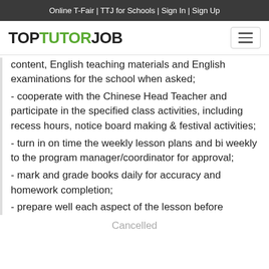Online T-Fair | TTJ for Schools | Sign In | Sign Up
[Figure (logo): TopTutorJob logo with hamburger menu button]
content, English teaching materials and English examinations for the school when asked;
- cooperate with the Chinese Head Teacher and participate in the specified class activities, including recess hours, notice board making & festival activities;
- turn in on time the weekly lesson plans and bi weekly to the program manager/coordinator for approval;
- mark and grade books daily for accuracy and homework completion;
- prepare well each aspect of the lesson before
Cancelled